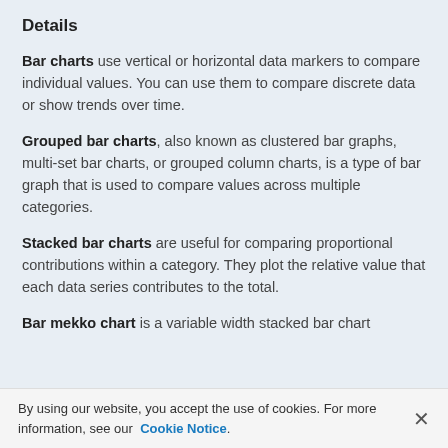Details
Bar charts use vertical or horizontal data markers to compare individual values. You can use them to compare discrete data or show trends over time.
Grouped bar charts, also known as clustered bar graphs, multi-set bar charts, or grouped column charts, is a type of bar graph that is used to compare values across multiple categories.
Stacked bar charts are useful for comparing proportional contributions within a category. They plot the relative value that each data series contributes to the total.
Bar mekko chart is a variable width stacked bar chart
By using our website, you accept the use of cookies. For more information, see our Cookie Notice.